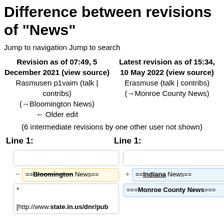Difference between revisions of "News"
Jump to navigation Jump to search
Revision as of 07:49, 5 December 2021 (view source)
Rasmusen p1vaim (talk | contribs)
(→Bloomington News)
← Older edit
Latest revision as of 15:34, 10 May 2022 (view source)
Erasmuse (talk | contribs)
(→Monroe County News)
(6 intermediate revisions by one other user not shown)
Line 1:
Line 1:
==Bloomington News==
==Indiana News==
* 
[http://www.state.in.us/dnr/pub
===Monroe County News===